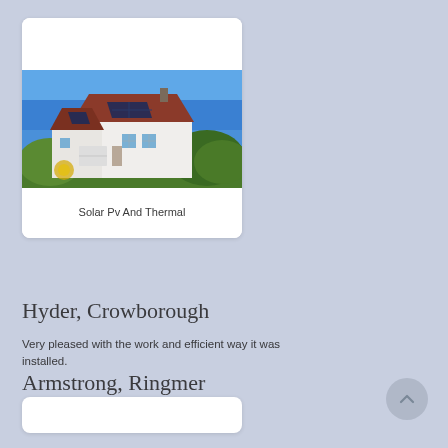[Figure (photo): Photo of a white house with solar panels on the red tile roof, blue sky background, garden in foreground.]
Solar Pv And Thermal
Hyder, Crowborough
Very pleased with the work and efficient way it was installed.
Armstrong, Ringmer
Excellent service – very efficient.